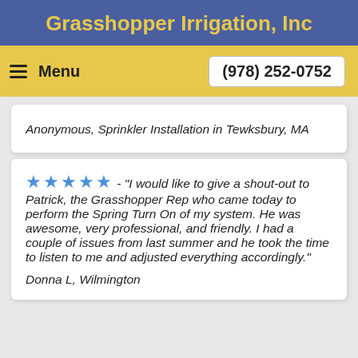Grasshopper Irrigation, Inc
Menu   (978) 252-0752
Anonymous, Sprinkler Installation in Tewksbury, MA
★★★★★ - "I would like to give a shout-out to Patrick, the Grasshopper Rep who came today to perform the Spring Turn On of my system. He was awesome, very professional, and friendly. I had a couple of issues from last summer and he took the time to listen to me and adjusted everything accordingly."
Donna L, Wilmington